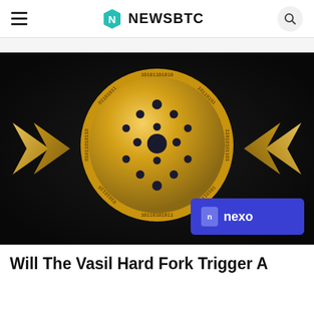NewsBTC
[Figure (illustration): Cardano (ADA) gold coin on dark background with binary digits around the edge, flanked by golden chevron arrows on both sides. A blue Nexo advertisement banner appears in the bottom right corner of the image.]
Will The Vasil Hard Fork Trigger A